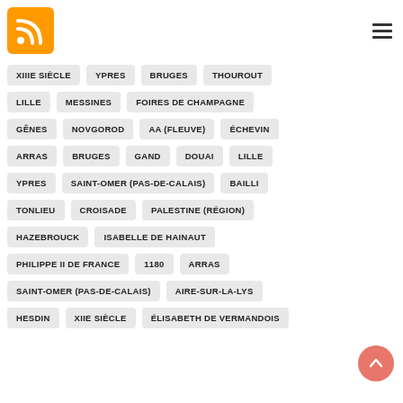[Figure (logo): RSS feed orange icon with white RSS symbol]
XIIIE SIÈCLE
YPRES
BRUGES
THOUROUT
LILLE
MESSINES
FOIRES DE CHAMPAGNE
GÊNES
NOVGOROD
AA (FLEUVE)
ÉCHEVIN
ARRAS
BRUGES
GAND
DOUAI
LILLE
YPRES
SAINT-OMER (PAS-DE-CALAIS)
BAILLI
TONLIEU
CROISADE
PALESTINE (RÉGION)
HAZEBROUCK
ISABELLE DE HAINAUT
PHILIPPE II DE FRANCE
1180
ARRAS
SAINT-OMER (PAS-DE-CALAIS)
AIRE-SUR-LA-LYS
HESDIN
XIIE SIÈCLE
ÉLISABETH DE VERMANDOIS